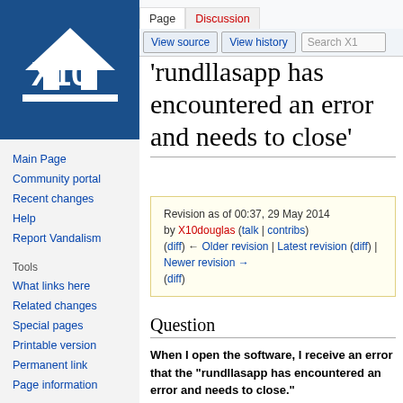[Figure (logo): X10 logo — white house/arrow and X10 text on dark blue background]
Main Page
Community portal
Recent changes
Help
Report Vandalism
Tools
What links here
Related changes
Special pages
Printable version
Permanent link
Page information
Log in
'rundllasapp has encountered an error and needs to close'
Revision as of 00:37, 29 May 2014 by X10douglas (talk | contribs) (diff) ← Older revision | Latest revision (diff) | Newer revision → (diff)
Question
When I open the software, I receive an error that the "rundllasapp has encountered an error and needs to close."